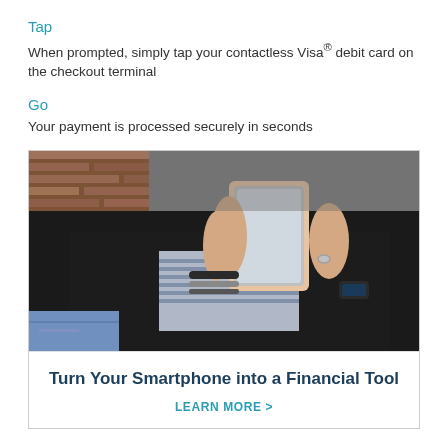Tap
When prompted, simply tap your contactless Visa® debit card on the checkout terminal
Go
Your payment is processed securely in seconds
[Figure (photo): Person sitting outdoors in a leather jacket and ripped jeans, holding a smartphone with both hands. Wearing beaded bracelets and a ring.]
Turn Your Smartphone into a Financial Tool
LEARN MORE >